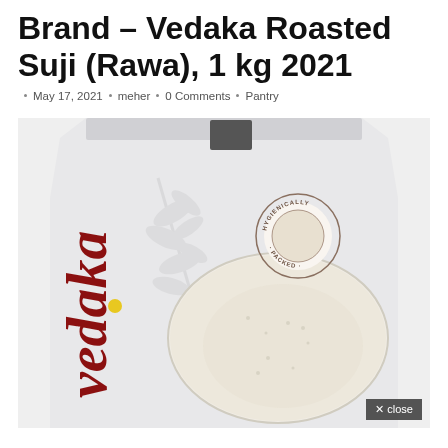Brand – Vedaka Roasted Suji (Rawa), 1 kg 2021
May 17, 2021 · meher · 0 Comments · Pantry
[Figure (photo): Vedaka Roasted Suji (Rawa) 1 kg product package — white bag with 'Vedaka' brand name in dark red vertical text, wheat/grain illustration, 'HYGIENICALLY PACKED' circular stamp, and visible semolina contents through a transparent window.]